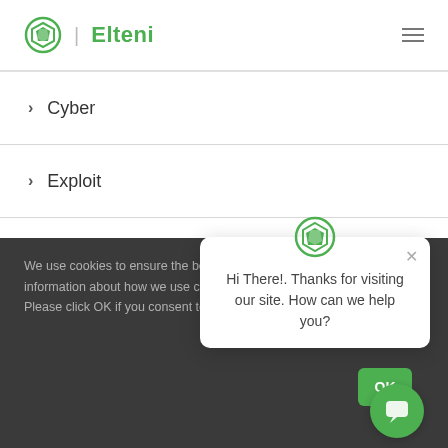[Figure (logo): Elteni logo with green circular shield icon and green text 'Elteni']
> Cyber
> Exploit
> Featured
> FINRA
> FTC
We use cookies to ensure the best experience on our website. For more information about how we use cookies, please read our Privacy Policy. Please click OK if you consent to the use of cookies.
[Figure (screenshot): Chat popup with Elteni logo, close button, message 'Hi There!. Thanks for visiting our site. How can we help you?', green OK button, and green chat bubble icon]